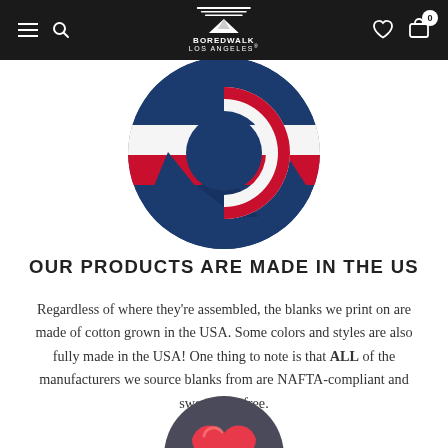Boredwalk Los Angeles — navigation bar
[Figure (illustration): Circular illustration of Colorado state flag colors — dark blue circle with mountain peaks, red and white stripe, and white C shape]
OUR PRODUCTS ARE MADE IN THE US
Regardless of where they're assembled, the blanks we print on are made of cotton grown in the USA. Some colors and styles are also fully made in the USA! One thing to note is that ALL of the manufacturers we source blanks from are NAFTA-compliant and sweatshop-free.
[Figure (illustration): Partial view of a circular illustration showing a heart shape — dark gray background with red/pink heart, visible at bottom of page]